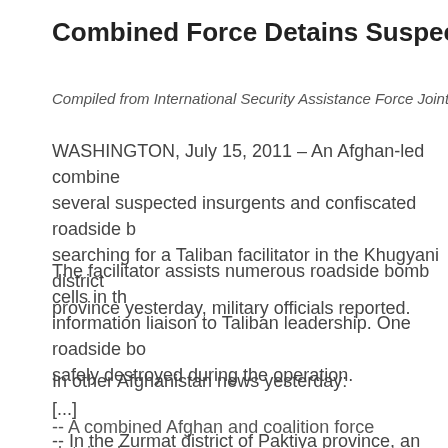Combined Force Detains Suspects, Seizes Bomb Mat...
Compiled from International Security Assistance Force Joint Comm...
WASHINGTON, July 15, 2011 – An Afghan-led combined... several suspected insurgents and confiscated roadside b... searching for a Taliban facilitator in the Khugyani district o... province yesterday, military officials reported.
The facilitator assists numerous roadside bomb cells in th... information liaison to Taliban leadership. One roadside bo... safely destroyed during the operation.
In other Afghanistan news yesterday:
-- A combined Afghan and coalition force detained one su... Taliban leader in the Daman district of Kandahar province... for attacks against the Afghan army.
[...]
-- In the Zurmat district of Paktiya province, an Afghan-le... network leader and one of his associates during an overn...